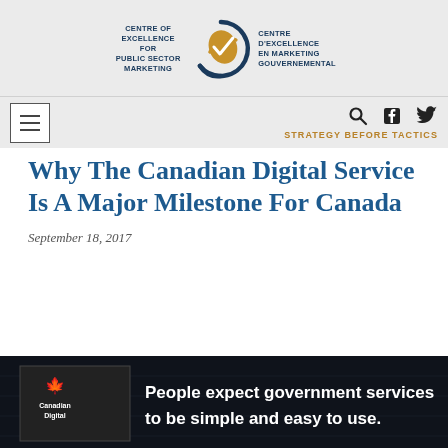[Figure (logo): Centre of Excellence for Public Sector Marketing logo with circular emblem and bilingual text]
STRATEGY BEFORE TACTICS
Why The Canadian Digital Service Is A Major Milestone For Canada
September 18, 2017
[Figure (photo): Dark background image showing a screen with Canadian Digital Service branding and text: People expect government services to be simple and easy to use.]